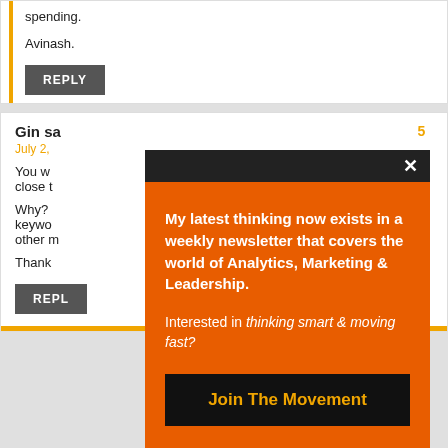spending.
Avinash.
REPLY
Gin says
July 2,
You w... close t...
Why? keywo... other m...
Thank
REPLY
[Figure (screenshot): Orange popup overlay with black header bar and close X button. Contains text: 'My latest thinking now exists in a weekly newsletter that covers the world of Analytics, Marketing & Leadership.' Then 'Interested in thinking smart & moving fast?' and a black button 'Join The Movement' in gold text.]